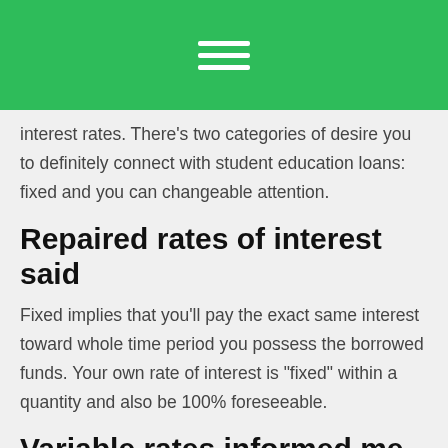[Figure (other): Green header bar with white hamburger menu icon (three horizontal lines)]
interest rates. There’s two categories of desire you to definitely connect with student education loans: fixed and you can changeable attention.
Repaired rates of interest said
Fixed implies that you’ll pay the exact same interest toward whole time period you possess the borrowed funds. Your own rate of interest is “fixed” within a quantity and also be 100% foreseeable.
Variable rates informed me
Varying means the speed will get change